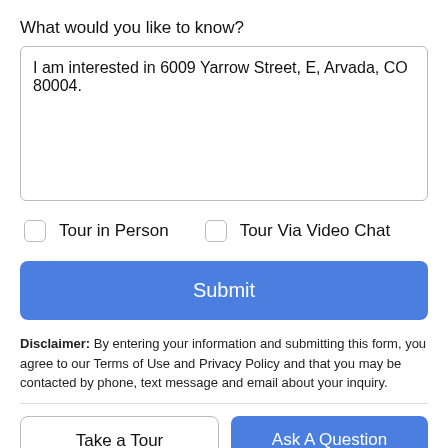What would you like to know?
I am interested in 6009 Yarrow Street, E, Arvada, CO 80004.
Tour in Person
Tour Via Video Chat
Submit
Disclaimer: By entering your information and submitting this form, you agree to our Terms of Use and Privacy Policy and that you may be contacted by phone, text message and email about your inquiry.
Take a Tour
Ask A Question